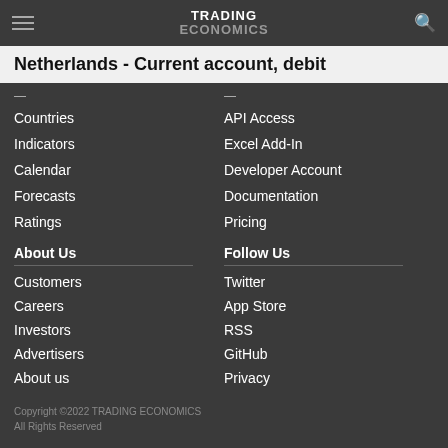TRADING ECONOMICS
Netherlands - Current account, debit
Countries
Indicators
Calendar
Forecasts
Ratings
API Access
Excel Add-In
Developer Account
Documentation
Pricing
About Us
Customers
Careers
Investors
Advertisers
About us
Follow Us
Twitter
App Store
RSS
GitHub
Privacy
Copyright ©2022 TRADING ECONOMICS
All Rights Reserved